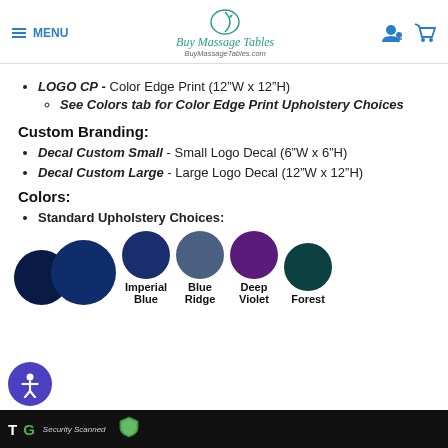MENU | Buy Massage Tables BuyMassageTables.com
LOGO CP - Color Edge Print (12"W x 12"H)
See Colors tab for Color Edge Print Upholstery Choices
Custom Branding:
Decal Custom Small - Small Logo Decal (6"W x 6"H)
Decal Custom Large - Large Logo Decal (12"W x 12"H)
Colors:
Standard Upholstery Choices:
[Figure (illustration): Color swatches: dark navy circle (partially visible), Imperial Blue circle, Blue Ridge circle, Deep Violet circle, Forest circle with labels below]
TG | Security Scanned (accessibility widget)